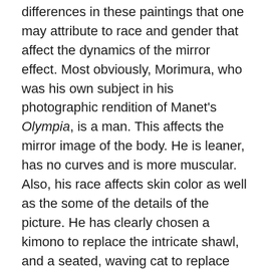differences in these paintings that one may attribute to race and gender that affect the dynamics of the mirror effect. Most obviously, Morimura, who was his own subject in his photographic rendition of Manet's Olympia, is a man. This affects the mirror image of the body. He is leaner, has no curves and is more muscular. Also, his race affects skin color as well as the some of the details of the picture. He has clearly chosen a kimono to replace the intricate shawl, and a seated, waving cat to replace standing one – both of these depictions have significance in Asian culture (116). Cultural implications are evident.
Overall, these two images reflect Anne D'Avelia's idea that that two similar artworks can have two different implied viewers. Also, they can mirror each other in certain respects, but diverge in others. These help reinforce